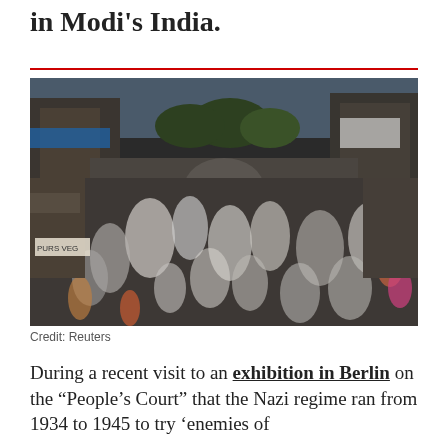in Modi's India.
[Figure (photo): Aerial view of a crowded street market in India with masses of people walking between shops and buildings, motion blur giving sense of movement and density.]
Credit: Reuters
During a recent visit to an exhibition in Berlin on the “People’s Court” that the Nazi regime ran from 1934 to 1945 to try ‘enemies of